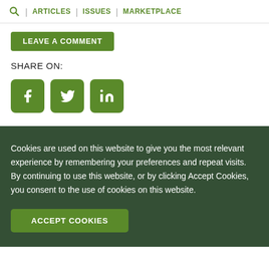ARTICLES | ISSUES | MARKETPLACE
LEAVE A COMMENT
SHARE ON:
[Figure (other): Social media share icons: Facebook, Twitter, LinkedIn]
Cookies are used on this website to give you the most relevant experience by remembering your preferences and repeat visits. By continuing to use this website, or by clicking Accept Cookies, you consent to the use of cookies on this website.
ACCEPT COOKIES